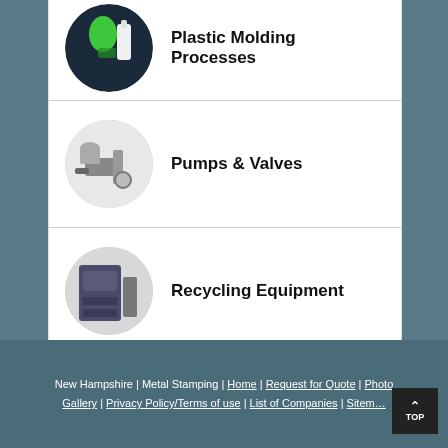Plastic Molding Processes
Pumps & Valves
Recycling Equipment
Rubber Products & Services
New Hampshire | Metal Stamping | Home | Request for Quote | Photo Gallery | Privacy Policy/Terms of use | List of Companies | Sitemap